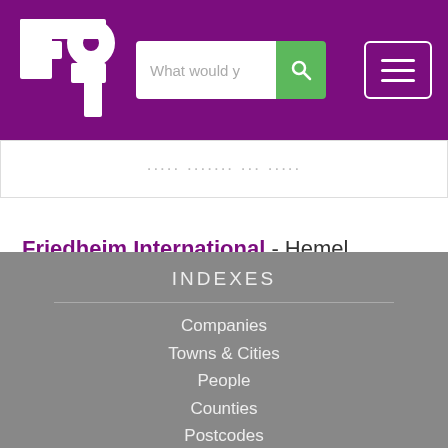FD logo with search bar and menu button
Related results for printer
Friedheim International - Hemel Hempstead, Hertfordshire - with optical counter Marking device Optical control of shingle stream switching the pressure belt on and off Pressure belt is equipped with its own d
INDEXES
Companies
Towns & Cities
People
Counties
Postcodes
Telephone